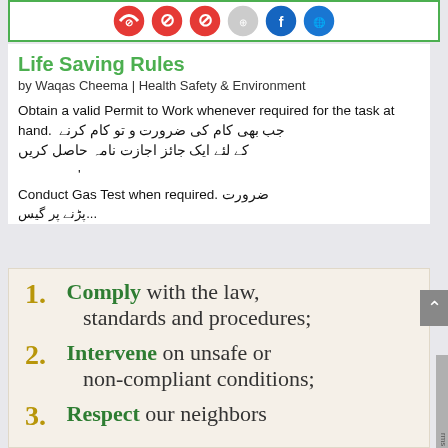[Figure (other): Top strip with social media and icon circles (red no-entry signs, blue Facebook icon, green WHO icon)]
Life Saving Rules
by Waqas Cheema | Health Safety & Environment
Obtain a valid Permit to Work whenever required for the task at hand.  جب بھی کام کی ضرورت  و تو کام کرنے کے لئے ایک جائز اجازت نامہ حاصل کریں
Conduct Gas Test when required. ضرورت پڑنے پر گیس...
[Figure (infographic): Life saving rules infographic on beige/tan background. List items: 1. Comply with the law, standards and procedures; 2. Intervene on unsafe or non-compliant conditions; 3. Respect our neighbors]